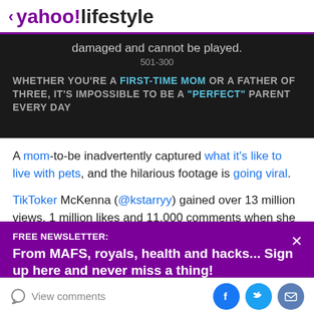< yahoo!lifestyle
[Figure (screenshot): Dark video player showing error text 'damaged and cannot be played.' with code '501-300' and subtitle text 'WHETHER YOU'RE A FIRST-TIME MOM OR A FATHER OF THREE, IT'S IMPOSSIBLE TO BE A "PERFECT" PARENT EVERY DAY']
A mom-to-be inadvertently captured what it's like to live with pets, and the hilarious footage is going viral.
TikToker McKenna (@kstarryy) gained over 13 million views, 1 million likes and 11,000 comments when she
FREE NEWSLETTER:
From MAFS, royals, health and hacks... Sign up here and never miss a thing!
View comments